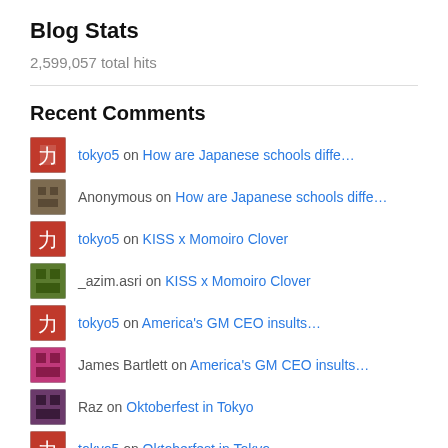Blog Stats
2,599,057 total hits
Recent Comments
tokyo5 on How are Japanese schools diffe…
Anonymous on How are Japanese schools diffe…
tokyo5 on KISS x Momoiro Clover
_azim.asri on KISS x Momoiro Clover
tokyo5 on America's GM CEO insults…
James Bartlett on America's GM CEO insults…
Raz on Oktoberfest in Tokyo
tokyo5 on Oktoberfest in Tokyo
Raz on Oktoberfest in Tokyo
Raz on Oktoberfest in Tokyo
Earnest Mercer on Oktoberfest in Tokyo
Raz on Oktoberfest in Tokyo
tokyo5 on Oktoberfest in Tokyo